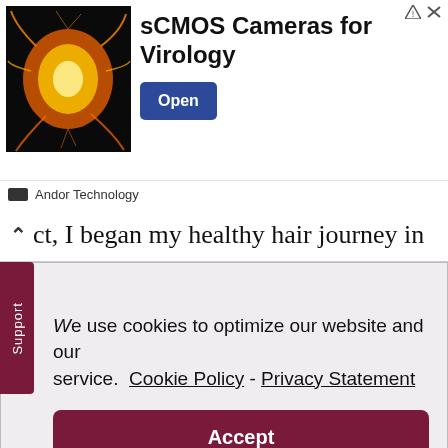[Figure (screenshot): Advertisement banner for sCMOS Cameras for Virology by Andor Technology, showing a microscopy image of a glowing orange/yellow cell on dark background, with an 'Open' button in dark blue.]
ct, I began my healthy hair journey in
We use cookies to optimize our website and our service.  Cookie Policy - Privacy Statement
Accept
mix), mothering the most adorable two year old on this globe, or rushing to meet the deadline for a writing project on Elance. In my spare time I enjoy a stroll along the beach with